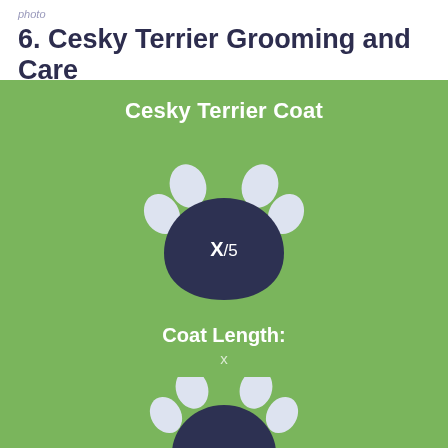photo
6. Cesky Terrier Grooming and Care
[Figure (infographic): Green background infographic showing a paw print icon with dark navy main pad and light blue toe pads, labeled X/5 in the center of the main pad. Below is 'Coat Length:' label with an X value. A second partial paw print appears at the bottom.]
Cesky Terrier Coat
Coat Length: X